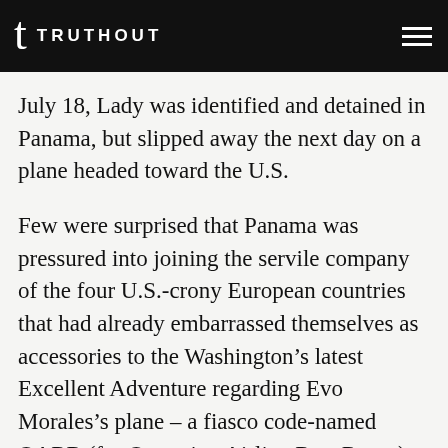TRUTHOUT
July 18, Lady was identified and detained in Panama, but slipped away the next day on a plane headed toward the U.S.
Few were surprised that Panama was pressured into joining the servile company of the four U.S.-crony European countries that had already embarrassed themselves as accessories to the Washington’s latest Excellent Adventure regarding Evo Morales’s plane – a fiasco code-named OARR (for Operation Airline Rest Room) after the suspected place where Snowden was